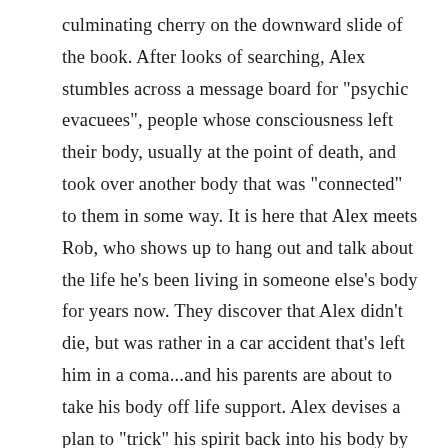culminating cherry on the downward slide of the book. After looks of searching, Alex stumbles across a message board for "psychic evacuees", people whose consciousness left their body, usually at the point of death, and took over another body that was "connected" to them in some way. It is here that Alex meets Rob, who shows up to hang out and talk about the life he's been living in someone else's body for years now. They discover that Alex didn't die, but was rather in a car accident that's left him in a coma...and his parents are about to take his body off life support. Alex devises a plan to "trick" his spirit back into his body by smothering himself and